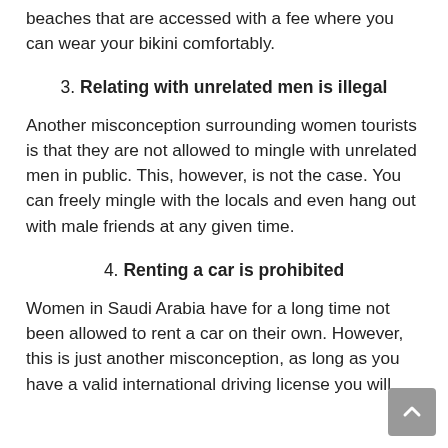beaches that are accessed with a fee where you can wear your bikini comfortably.
3. Relating with unrelated men is illegal
Another misconception surrounding women tourists is that they are not allowed to mingle with unrelated men in public. This, however, is not the case. You can freely mingle with the locals and even hang out with male friends at any given time.
4. Renting a car is prohibited
Women in Saudi Arabia have for a long time not been allowed to rent a car on their own. However, this is just another misconception, as long as you have a valid international driving license you will